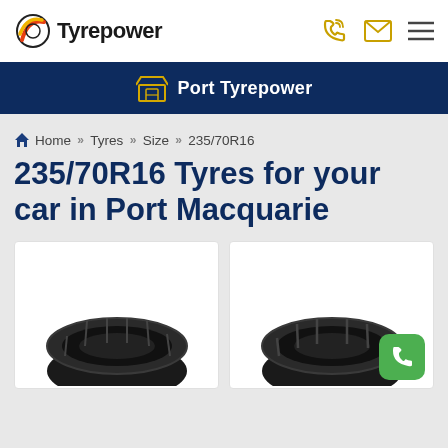Tyrepower
Port Tyrepower
Home >> Tyres >> Size >> 235/70R16
235/70R16 Tyres for your car in Port Macquarie
[Figure (photo): Two tyre product cards side by side, each showing the top portion of a black car tyre on a white background]
[Figure (other): Green phone/call button in bottom right corner]